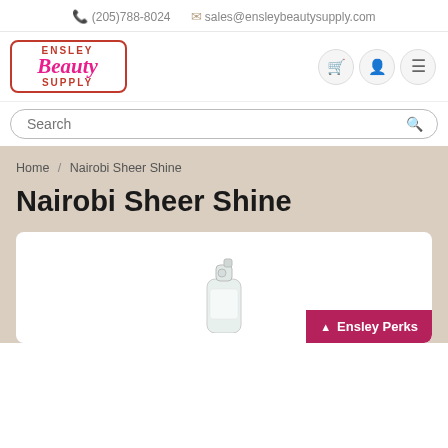(205)788-8024   sales@ensleybeautysupply.com
[Figure (logo): Ensley Beauty Supply logo with pink script and red border]
Search
Home / Nairobi Sheer Shine
Nairobi Sheer Shine
[Figure (photo): Product image of Nairobi Sheer Shine bottle with pump, partially visible]
Ensley Perks